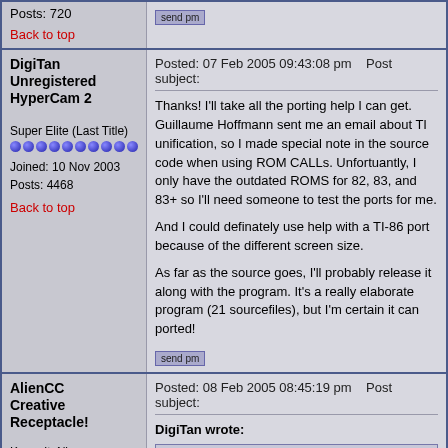Posts: 720
Back to top
DigiTan
Unregistered HyperCam 2
Super Elite (Last Title)
Joined: 10 Nov 2003
Posts: 4468
Posted: 07 Feb 2005 09:43:08 pm   Post subject:
Thanks! I'll take all the porting help I can get. Guillaume Hoffmann sent me an email about TI unification, so I made special note in the source code when using ROM CALLs. Unfortuantly, I only have the outdated ROMS for 82, 83, and 83+ so I'll need someone to test the ports for me.

And I could definately use help with a TI-86 port because of the different screen size.

As far as the source goes, I'll probably release it along with the program. It's a really elaborate program (21 sourcefiles), but I'm certain it can ported!
Back to top
AlienCC
Creative Receptacle!
Know-It-All
Posted: 08 Feb 2005 08:45:19 pm   Post subject:
DigiTan wrote:
As far as the source goes, I'll probably release it along with the program.  It's a really elaborate program (21 sourcefiles), but I'm certain it can ported!
Something with the source...